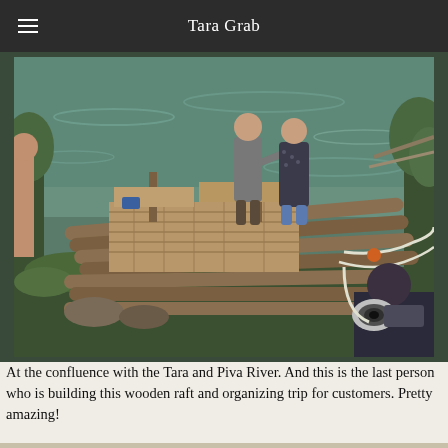Tara Grab
[Figure (photo): Photograph of two men standing on a wooden log raft on the Tara and Piva River. The raft is made of logs lashed together with ropes. Trees and green vegetation are visible in the background along the riverbank. In the foreground, a person is holding a camera with a large lens.]
At the confluence with the Tara and Piva River. And this is the last person who is building this wooden raft and organizing trip for customers. Pretty amazing!